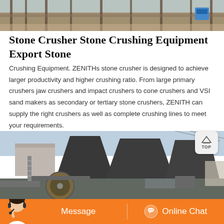[Figure (photo): Top partial photo of industrial/construction site with rail bars and machinery, brown/tan tones]
Stone Crusher Stone Crushing Equipment Export Stone
Crushing Equipment. ZENITHs stone crusher is designed to achieve larger productivity and higher crushing ratio. From large primary crushers jaw crushers and impact crushers to cone crushers and VSI sand makers as secondary or tertiary stone crushers, ZENITH can supply the right crushers as well as complete crushing lines to meet your requirements.
[Figure (photo): Photo of stone crushing equipment/machinery at an industrial site with large crusher cones and buildings in background]
Message   Online Chat